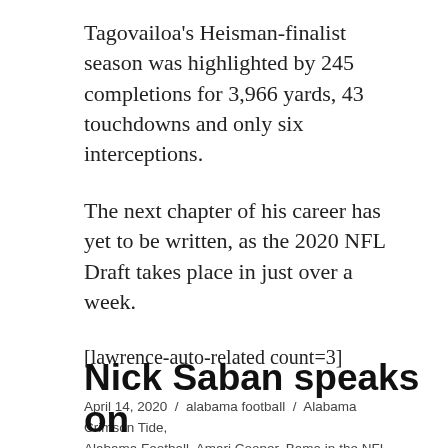Tagovailoa's Heisman-finalist season was highlighted by 245 completions for 3,966 yards, 43 touchdowns and only six interceptions.
The next chapter of his career has yet to be written, as the 2020 NFL Draft takes place in just over a week.
[lawrence-auto-related count=3]
April 14, 2020 / alabama football / Alabama Crimson Tide, Alabama Football, Amari Cooper, Bama in the NFL, Heisman, tua tagovailoa
Nick Saban speaks on